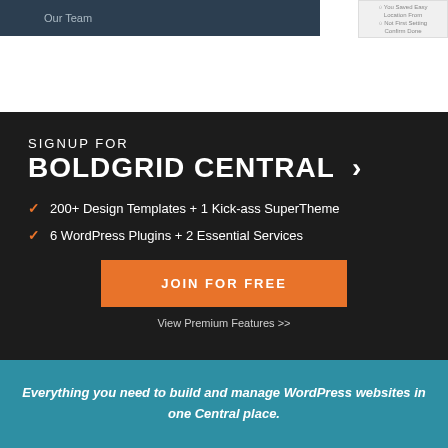[Figure (screenshot): Top banner showing 'Our Team' navigation element on dark background, with a small UI widget on the right side]
SIGNUP FOR
BOLDGRID CENTRAL >
200+ Design Templates + 1 Kick-ass SuperTheme
6 WordPress Plugins + 2 Essential Services
JOIN FOR FREE
View Premium Features >>
Everything you need to build and manage WordPress websites in one Central place.